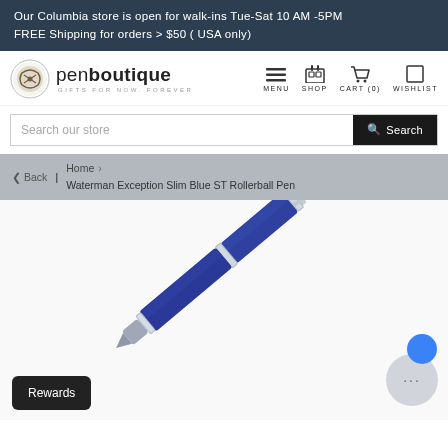Our Columbia store is open for walk-ins Tue-Sat 10 AM -5PM
FREE Shipping for orders > $50 ( USA only)
[Figure (logo): Pen Boutique logo with circular pen nib icon and text 'penboutique GIFTS FOR NOW, FOREVER']
MENU  SHOP  CART (0)  WISHLIST
Search our store
Back | Home > Waterman Exception Slim Blue ST Rollerball Pen
[Figure (photo): Waterman Exception Slim Blue ST Rollerball Pen shown diagonally, blue barrel with silver/chrome clip and trim, cap visible at top right]
Rewards
...